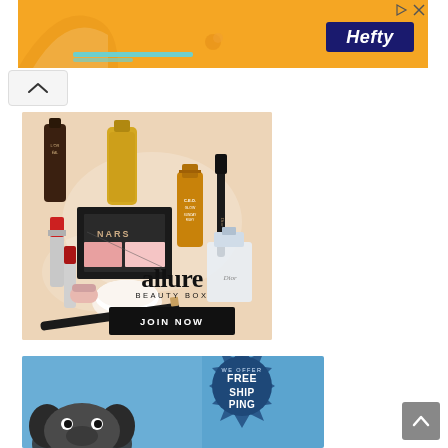[Figure (screenshot): Orange banner advertisement for Hefty brand with logo on right side. Play and close icons visible top right.]
[Figure (screenshot): Scroll up chevron button UI element]
[Figure (photo): Allure Beauty Box advertisement showing cosmetics products including lipstick, mascara, NARS blush palette, Dior perfume, face cream, and serums on peach background. Text reads: allure BEAUTY BOX, JOIN NOW button.]
[Figure (photo): Free shipping advertisement on blue background with starburst badge reading WE OFFER FREE SHIPPING, showing partial image of a French bulldog.]